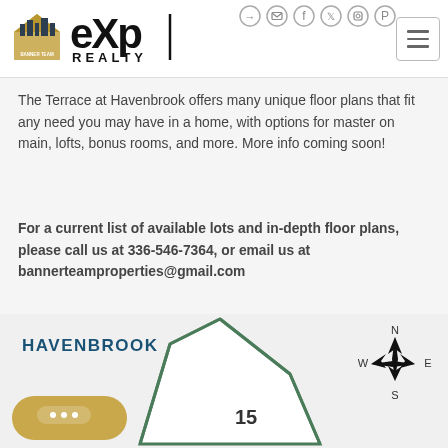eXp Realty - Banner Team - header with social icons and logo
The Terrace at Havenbrook offers many unique floor plans that fit any need you may have in a home, with options for master on main, lofts, bonus rooms, and more. More info coming soon!
For a current list of available lots and in-depth floor plans, please call us at 336-546-7364, or email us at bannerteamproperties@gmail.com
[Figure (map): Havenbrook subdivision map showing a lot numbered 15 with a compass rose showing N/S/E/W directions]